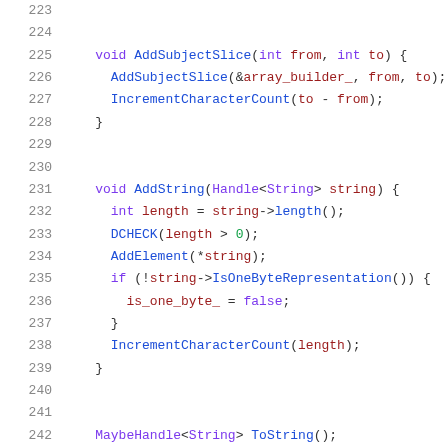Code listing lines 223-244, C++ source code
225: void AddSubjectSlice(int from, int to) {
226:   AddSubjectSlice(&array_builder_, from, to);
227:   IncrementCharacterCount(to - from);
228: }
231: void AddString(Handle<String> string) {
232:   int length = string->length();
233:   DCHECK(length > 0);
234:   AddElement(*string);
235:   if (!string->IsOneByteRepresentation()) {
236:     is_one_byte_ = false;
237:   }
238:   IncrementCharacterCount(length);
239: }
242: MaybeHandle<String> ToString();